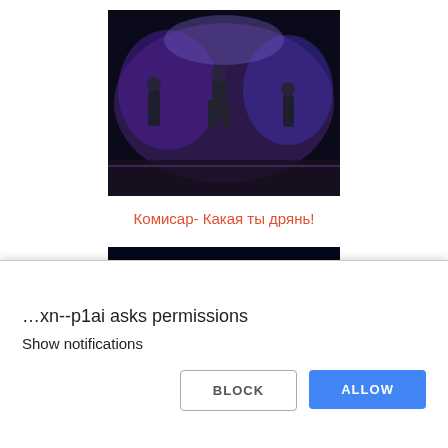[Figure (photo): Stage performance scene with performers under blue/purple lighting on a dark stage.]
Комисар- Какая ты дрянь!
[Figure (photo): Person standing alone on a stage with bright blue backlighting.]
…xn--p1ai asks permissions
Show notifications
BLOCK
ALLOW